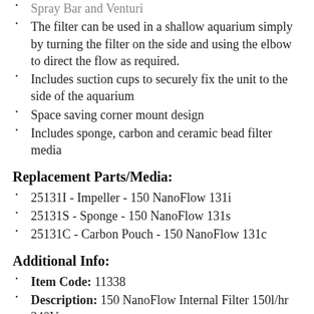Spray Bar and Venturi
The filter can be used in a shallow aquarium simply by turning the filter on the side and using the elbow to direct the flow as required.
Includes suction cups to securely fix the unit to the side of the aquarium
Space saving corner mount design
Includes sponge, carbon and ceramic bead filter media
Replacement Parts/Media:
25131I - Impeller - 150 NanoFlow 131i
25131S - Sponge - 150 NanoFlow 131s
25131C - Carbon Pouch - 150 NanoFlow 131c
Additional Info:
Item Code: 11338
Description: 150 NanoFlow Internal Filter 150l/hr 240V
Dimensions: 5.5 x 5.5 x 18 cm H